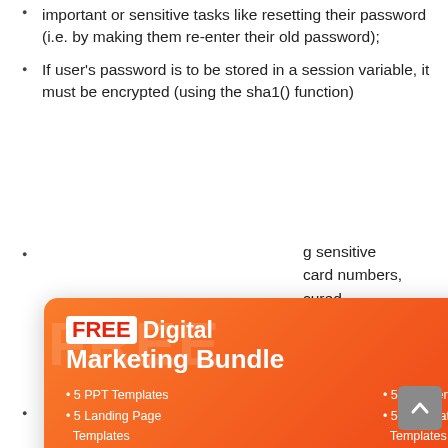important or sensitive tasks like resetting their password (i.e. by making them re-enter their old password);
If user's password is to be stored in a session variable, it must be encrypted (using the sha1() function)
[partially obscured] ...g sensitive ...card numbers, ...cured ...on and cookie
[Figure (infographic): Popup advertisement for FREE Digital Marketing Bundle. Contains: FREE badge, title 'FREE Digital Marketing Bundle', bullet list (5 PPT Templates, 5 Landing Page Templates, 5 PSD Templates, 5 Corporate Identity Templates), CTA text 'Enter your email to download the bundle', email input field 'Enter your email', and 'Get Bundle' button. Orange/red gradient background with close X button.]
...th traversal)
[partially visible bullet]
[Figure (other): Scroll-to-top arrow button, grey square with upward arrow]